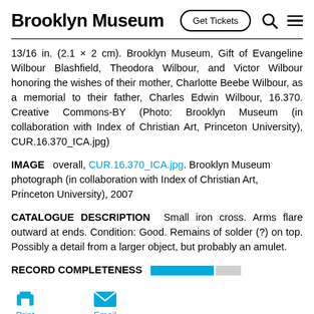Brooklyn Museum | Get Tickets
13/16 in. (2.1 × 2 cm). Brooklyn Museum, Gift of Evangeline Wilbour Blashfield, Theodora Wilbour, and Victor Wilbour honoring the wishes of their mother, Charlotte Beebe Wilbour, as a memorial to their father, Charles Edwin Wilbour, 16.370. Creative Commons-BY (Photo: Brooklyn Museum (in collaboration with Index of Christian Art, Princeton University), CUR.16.370_ICA.jpg)
IMAGE   overall, CUR.16.370_ICA.jpg. Brooklyn Museum photograph (in collaboration with Index of Christian Art, Princeton University), 2007
CATALOGUE DESCRIPTION   Small iron cross. Arms flare outward at ends. Condition: Good. Remains of solder (?) on top. Possibly a detail from a larger object, but probably an amulet.
RECORD COMPLETENESS
Print | Email